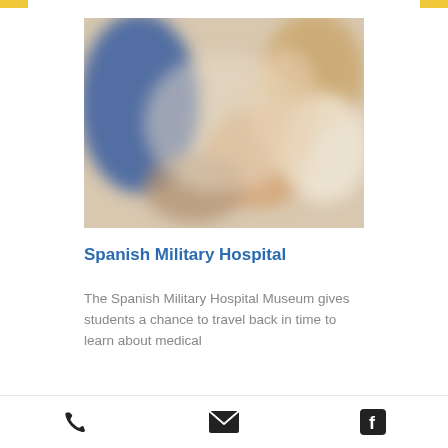[Figure (photo): Blurred photo of a patient in a hospital or medical setting, with blue and warm toned blurred figures visible]
Spanish Military Hospital
The Spanish Military Hospital Museum gives students a chance to travel back in time to learn about medical